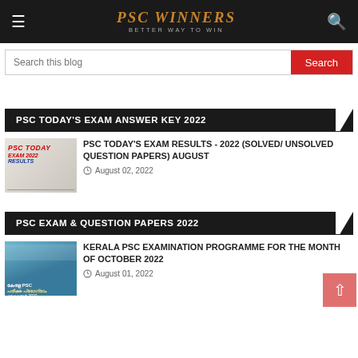PSC WINNERS — BETTER WAY TO WIN
Search this blog
PSC TODAY'S EXAM ANSWER KEY 2022
[Figure (photo): Thumbnail image showing a hand pointing to 'PSC TODAY EXAM 2022 RESULTS' text in red on a document background]
PSC TODAY'S EXAM RESULTS - 2022 (SOLVED/ UNSOLVED QUESTION PAPERS) AUGUST
August 02, 2022
PSC EXAM & QUESTION PAPERS 2022
[Figure (photo): Thumbnail image showing a building with Malayalam text overlay related to Kerala PSC Examination Programme]
KERALA PSC EXAMINATION PROGRAMME FOR THE MONTH OF OCTOBER 2022
August 01, 2022